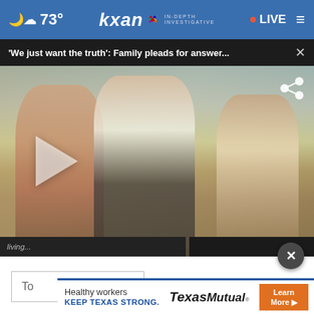73° | kxan IN-DEPTH INVESTIGATIVE | LIVE
'We just want the truth': Family pleads for answer... ×
[Figure (photo): Video thumbnail showing a group of three young people posing together outdoors near a residential neighborhood. A play button is visible on the left side and a share icon on the upper right.]
×
To
[Figure (infographic): Texas Mutual advertisement banner: 'Healthy workers KEEP TEXAS STRONG. Texas Mutual® Learn More ▶']